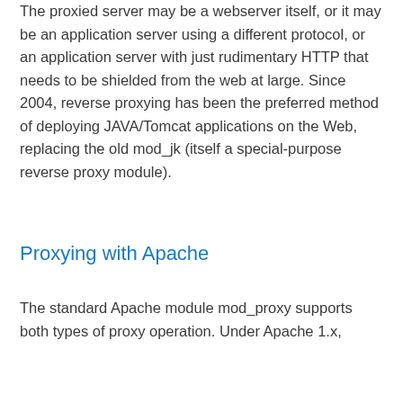The proxied server may be a webserver itself, or it may be an application server using a different protocol, or an application server with just rudimentary HTTP that needs to be shielded from the web at large. Since 2004, reverse proxying has been the preferred method of deploying JAVA/Tomcat applications on the Web, replacing the old mod_jk (itself a special-purpose reverse proxy module).
Proxying with Apache
The standard Apache module mod_proxy supports both types of proxy operation. Under Apache 1.x,